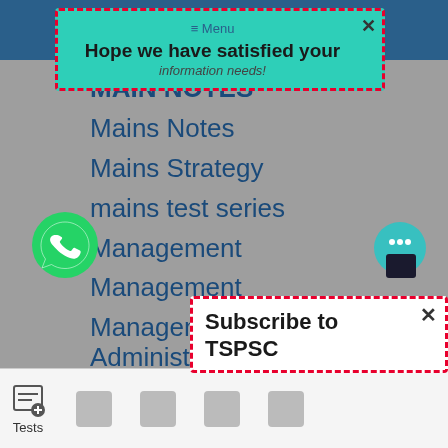[Figure (screenshot): Teal popup notification with dashed red border saying 'Hope we have satisfied your' with Menu text and close button]
MAIN NOTES
Mains Notes
Mains Strategy
mains test series
Management
Management
Management and Administration
March 2017
March 2018
March 2019
ARCH 2022
[Figure (screenshot): Bottom popup with dashed red border showing 'Subscribe to TSPSC' text with close button]
Tests